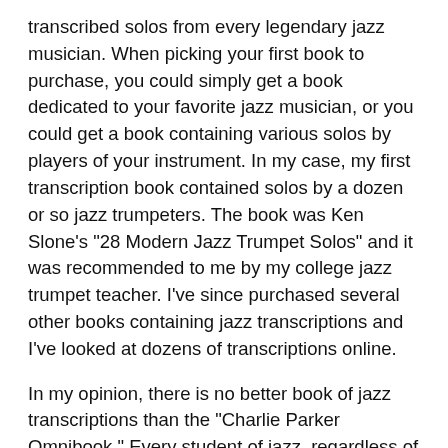transcribed solos from every legendary jazz musician. When picking your first book to purchase, you could simply get a book dedicated to your favorite jazz musician, or you could get a book containing various solos by players of your instrument. In my case, my first transcription book contained solos by a dozen or so jazz trumpeters. The book was Ken Slone's "28 Modern Jazz Trumpet Solos" and it was recommended to me by my college jazz trumpet teacher. I've since purchased several other books containing jazz transcriptions and I've looked at dozens of transcriptions online.
In my opinion, there is no better book of jazz transcriptions than the "Charlie Parker Omnibook." Every student of jazz, regardless of instrument, should have this book. I didn't get a copy myself until 2007 (I got the Bb version), and boy do I wish I had bought it years ago. Page after page, it's the